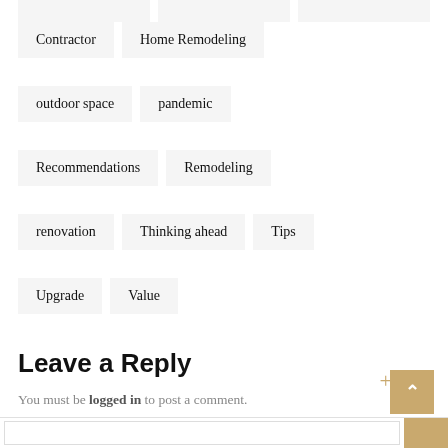Contractor
Home Remodeling
outdoor space
pandemic
Recommendations
Remodeling
renovation
Thinking ahead
Tips
Upgrade
Value
Leave a Reply
You must be logged in to post a comment.